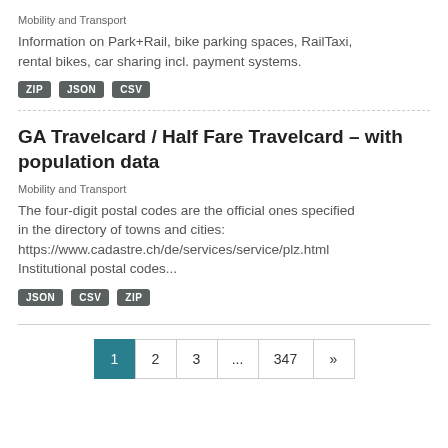Mobility and Transport
Information on Park+Rail, bike parking spaces, RailTaxi, rental bikes, car sharing incl. payment systems.
ZIP  JSON  CSV
GA Travelcard / Half Fare Travelcard – with population data
Mobility and Transport
The four-digit postal codes are the official ones specified in the directory of towns and cities: https://www.cadastre.ch/de/services/service/plz.html Institutional postal codes...
JSON  CSV  ZIP
1  2  3  ...  347  »